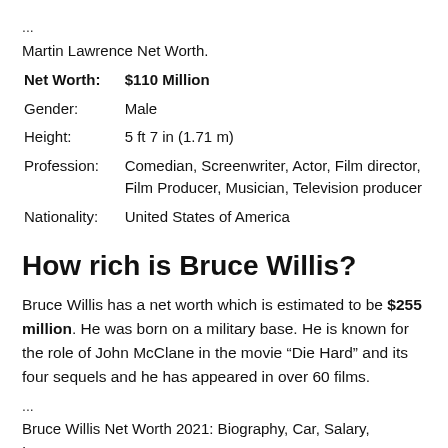...
Martin Lawrence Net Worth.
| Net Worth: | $110 Million |
| Gender: | Male |
| Height: | 5 ft 7 in (1.71 m) |
| Profession: | Comedian, Screenwriter, Actor, Film director, Film Producer, Musician, Television producer |
| Nationality: | United States of America |
How rich is Bruce Willis?
Bruce Willis has a net worth which is estimated to be $255 million. He was born on a military base. He is known for the role of John McClane in the movie “Die Hard” and its four sequels and he has appeared in over 60 films.
...
Bruce Willis Net Worth 2021: Biography, Car, Salary, Income